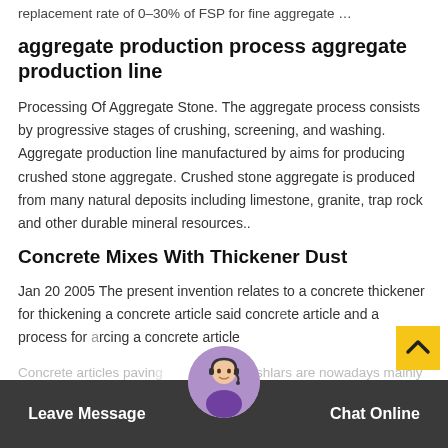replacement rate of 0–30% of FSP for fine aggregate …
aggregate production process aggregate production line
Processing Of Aggregate Stone. The aggregate process consists by progressive stages of crushing, screening, and washing. Aggregate production line manufactured by aims for producing crushed stone aggregate. Crushed stone aggregate is produced from many natural deposits including limestone, granite, trap rock and other durable mineral resources..
Concrete Mixes With Thickener Dust
Jan 20 2005 The present invention relates to a concrete thickener for thickening a concrete article said concrete article and a process for producing a concrete article
Concrete articles paving concrete ashlars are nowadays mainly produced in two layers coarse
Leave Message   Chat Online